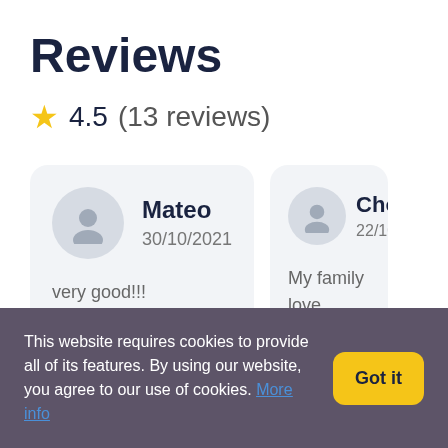Reviews
★ 4.5 (13 reviews)
Mateo
30/10/2021
very good!!!
Cho
22/10
My family love tasting experie The olive oils a The olive oil ski made our skin We look forwar visit.
This website requires cookies to provide all of its features. By using our website, you agree to our use of cookies. More info